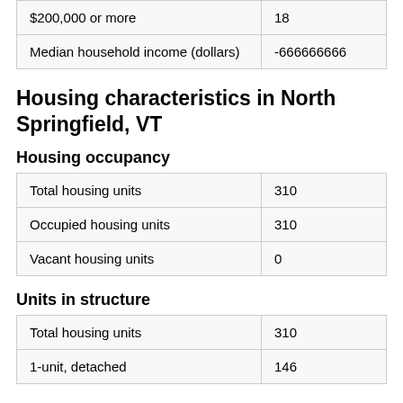|  |  |
| --- | --- |
| $200,000 or more | 18 |
| Median household income (dollars) | -666666666 |
Housing characteristics in North Springfield, VT
Housing occupancy
|  |  |
| --- | --- |
| Total housing units | 310 |
| Occupied housing units | 310 |
| Vacant housing units | 0 |
Units in structure
|  |  |
| --- | --- |
| Total housing units | 310 |
| 1-unit, detached | 146 |